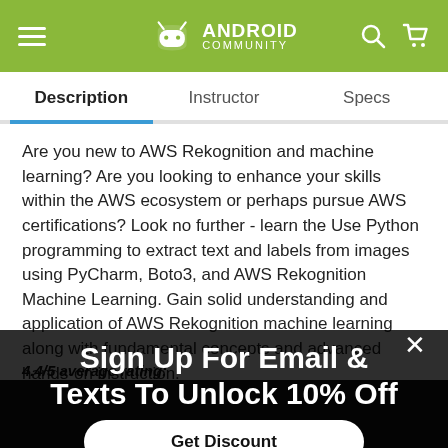[Figure (screenshot): Android Community website header with hamburger menu, Android Community logo, search icon, and cart icon on green background]
Description	Instructor	Specs
Are you new to AWS Rekognition and machine learning? Are you looking to enhance your skills within the AWS ecosystem or perhaps pursue AWS certifications? Look no further - learn the Use Python programming to extract text and labels from images using PyCharm, Boto3, and AWS Rekognition Machine Learning. Gain solid understanding and application of AWS Rekognition machine learning along with fundamental concepts and advance hands-on instruction.
4.4/5 average rating:
Sign Up For Email & Texts To Unlock 10% Off
Get Discount